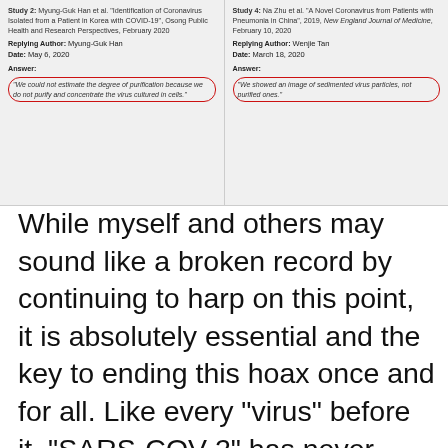[Figure (screenshot): Two side-by-side screenshots of academic study replies. Left: Study 2 by Myung-Guk Han et al., 'Identification of Coronavirus Isolated from a Patient in Korea with COVID-19', Osong Public Health and Research Perspectives, February 2020. Replying Author: Myung-Guk Han. Date: May 6, 2020. Answer circled in red: 'We could not estimate the degree of purification because we did not purify and concentrate the virus cultured in cells.' Right: Study 4: Na Zhu et al., 'A Novel Coronavirus from Patients with Pneumonia in China', 2019, New England Journal of Medicine, February 10, 2020. Replying Author: Wenjie Tan. Date: March 18, 2020. Answer circled in red: 'We showed an image of sedimented virus particles, not purified ones.']
While myself and others may sound like a broken record by continuing to harp on this point, it is absolutely essential and the key to ending this hoax once and for all. Like every "virus" before it, "SARS-COV-2" has never been purified/isolated directly from sick humans. No particles have ever been purified (i.e. freed from contaminants, pollutants, foreign material) by subjecting the human sample to accepted purification